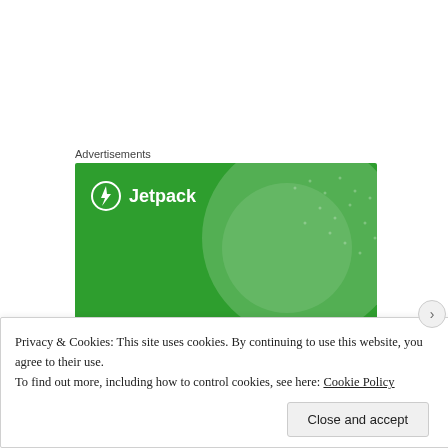Advertisements
[Figure (illustration): Jetpack advertisement banner on green background with circular decorative element. Shows Jetpack logo (lightning bolt in circle) and text 'Like an undo button for your WordPress site']
Privacy & Cookies: This site uses cookies. By continuing to use this website, you agree to their use.
To find out more, including how to control cookies, see here: Cookie Policy
Close and accept